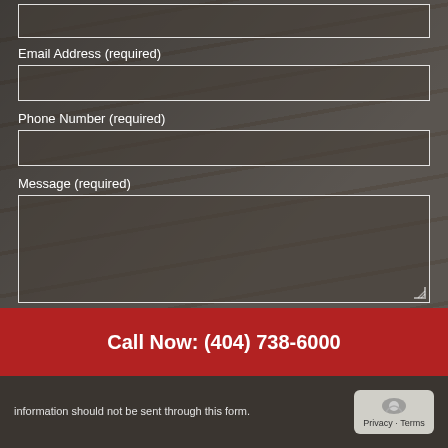Email Address (required)
Phone Number (required)
Message (required)
Call Now: (404) 738-6000
information should not be sent through this form.
Privacy · Terms